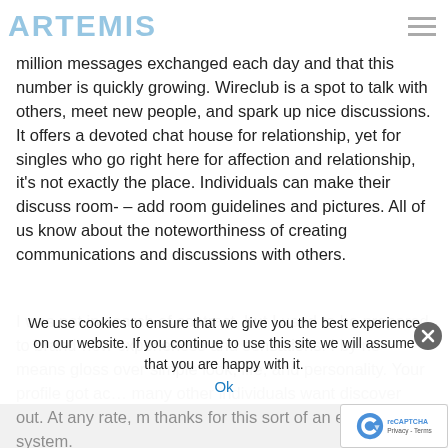ARTEMIS
individuals who spend a traditional of 26.2 minutes each time they visit the station. Also, there are more than 1.1 million messages exchanged each day and that this number is quickly growing. Wireclub is a spot to talk with others, meet new people, and spark up nice discussions. It offers a devoted chat house for relationship, yet for singles who go right here for affection and relationship, it’s not exactly the place. Individuals can make their discuss room- – add room guidelines and pictures. All of us know about the noteworthiness of creating communications and discussions with others.
I was not in search of contract, but I used to be prepared to brand-new experiences and sensations. I by no means gloss over simple look, life, and personality. Your profile got ac... many other individuals want discover out. At any rate, m thanks for this sort of an excellent system.
We use cookies to ensure that we give you the best experience on our website. If you continue to use this site we will assume that you are happy with it.
Ok